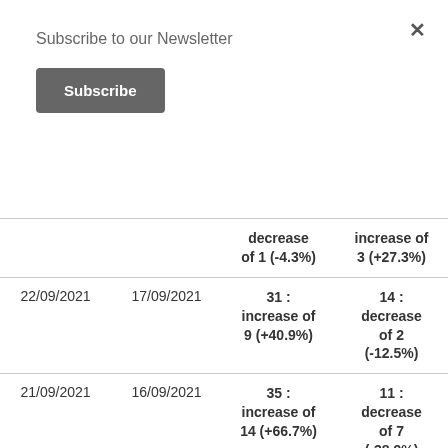Subscribe to our Newsletter
Subscribe
| Date 1 | Date 2 | Value 1 | Value 2 |
| --- | --- | --- | --- |
|  |  | decrease of 1 (-4.3%) | increase of 3 (+27.3%) |
| 22/09/2021 | 17/09/2021 | 31 : increase of 9 (+40.9%) | 14 : decrease of 2 (-12.5%) |
| 21/09/2021 | 16/09/2021 | 35 : increase of 14 (+66.7%) | 11 : decrease of 7 (-38.9%) |
| 20/09/2021 | 15/09/2021 | 31 : increase of | 11 : decrease |